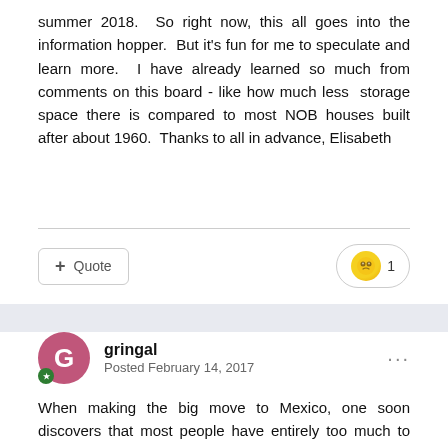summer 2018.  So right now, this all goes into the information hopper.  But it's fun for me to speculate and learn more.  I have already learned so much from comments on this board - like how much less  storage space there is compared to most NOB houses built after about 1960.  Thanks to all in advance, Elisabeth
gringal
Posted February 14, 2017
When making the big move to Mexico, one soon discovers that most people have entirely too much to store. If people haul out all their clothes, they may end up dong some culling and sorting with three piles (1) things you actually wear (and will bring) (2) things to give away and (3) very nice things nobody wears;  going to the consignment store. Same deal in the kitchen.  (Even so, I